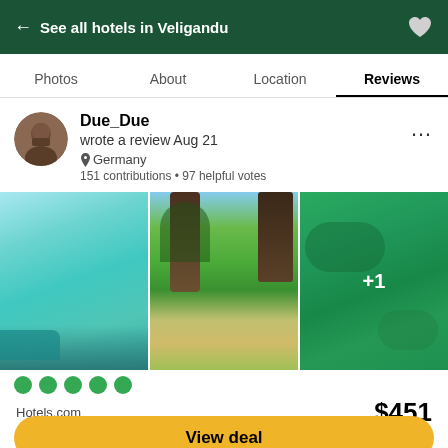← See all hotels in Veligandu
Photos  About  Location  Reviews
Due_Due
wrote a review Aug 21
Germany
151 contributions • 97 helpful votes
[Figure (photo): Three vacation photos: turquoise ocean water, tropical palm tree path, and green underwater scene with +1 overlay]
●●●●●
Hotels.com  $451
View deal
Special offer